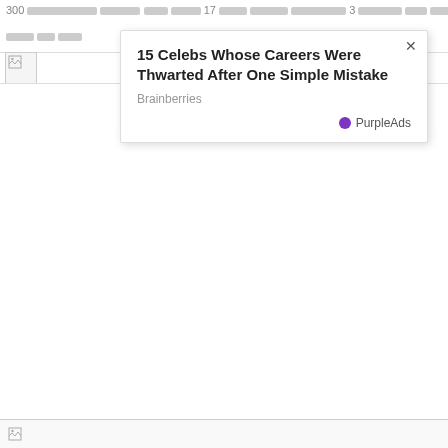300 □□□□□□□□□□□ □□□□□ □□ □□□□ 17 □□□□ □□□□□ □□□□□□□□□ 3 □□□□□□ □□□ □□□ □□ □□□ □□□□ 1
□□□ □□ □□□
[Figure (other): Broken image placeholder icon top left]
[Figure (other): Advertisement popup card: 15 Celebs Whose Careers Were Thwarted After One Simple Mistake, Brainberries, PurpleAds]
[Figure (other): Broken image placeholder strip at bottom of page]